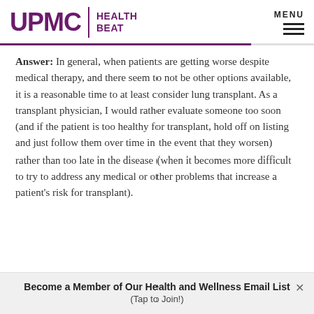UPMC | HEALTH BEAT
Answer: In general, when patients are getting worse despite medical therapy, and there seem to not be other options available, it is a reasonable time to at least consider lung transplant. As a transplant physician, I would rather evaluate someone too soon (and if the patient is too healthy for transplant, hold off on listing and just follow them over time in the event that they worsen) rather than too late in the disease (when it becomes more difficult to try to address any medical or other problems that increase a patient's risk for transplant).
Become a Member of Our Health and Wellness Email List (Tap to Join!)